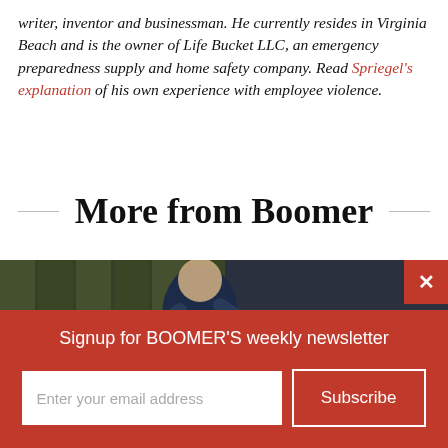writer, inventor and businessman. He currently resides in Virginia Beach and is the owner of Life Bucket LLC, an emergency preparedness supply and home safety company. Read Spriegel's explanation of his own experience with employee violence.
More from Boomer
[Figure (photo): A runner wearing a dark navy sleeveless top running outdoors.]
× Signup for BOOMER'S weekly newsletter
Enter your email address  Subscribe